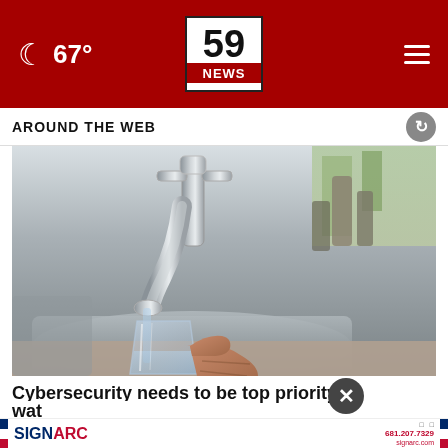67° | 59 NEWS
AROUND THE WEB
[Figure (photo): A hand holding a clear glass being filled with water from a kitchen faucet. The kitchen sink and background kitchen items are visible.]
Cybersecurity needs to be top priority in nation's water
[Figure (other): SignArc advertisement banner with red-white-blue stripes, SignArc logo, phone number 681.207.7329 and website signarc.com with Instagram and Facebook icons]